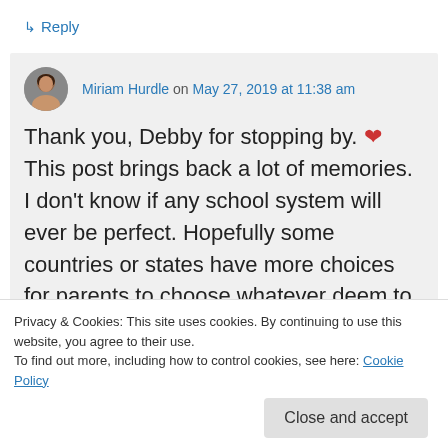↳ Reply
Miriam Hurdle on May 27, 2019 at 11:38 am
Thank you, Debby for stopping by. ❤ This post brings back a lot of memories. I don't know if any school system will ever be perfect. Hopefully some countries or states have more choices for parents to choose whatever deem to be best for their children
Privacy & Cookies: This site uses cookies. By continuing to use this website, you agree to their use.
To find out more, including how to control cookies, see here: Cookie Policy
Close and accept